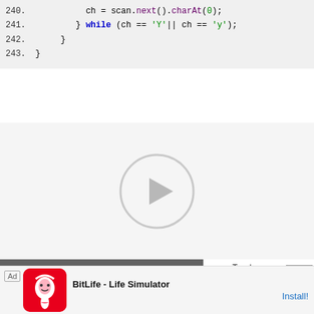240.    ch = scan.next().charAt(0);
241.    } while (ch == 'Y'|| ch == 'y');
242.    }
243. }
[Figure (screenshot): Video player placeholder showing large circular play button on light gray background]
[Figure (screenshot): Popup video overlay showing 'How_to_Install...' title with play button on gray background]
ree Test
ree Operations
Ad  BitLife - Life Simulator  Install!